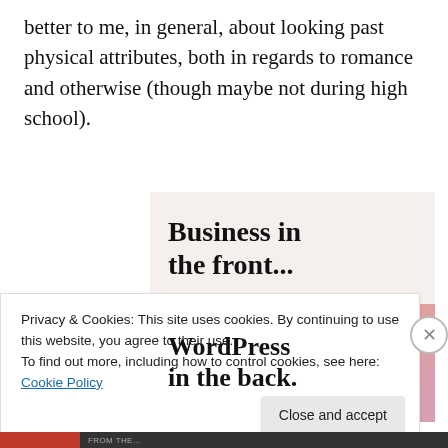better to me, in general, about looking past physical attributes, both in regards to romance and otherwise (though maybe not during high school).
[Figure (screenshot): Advertisement banner with two sections: top section on light beige background reads 'Business in the front...' in bold serif; bottom section on orange-pink gradient reads 'WordPress in the back.' in bold serif, with decorative blobs.]
Privacy & Cookies: This site uses cookies. By continuing to use this website, you agree to their use.
To find out more, including how to control cookies, see here: Cookie Policy